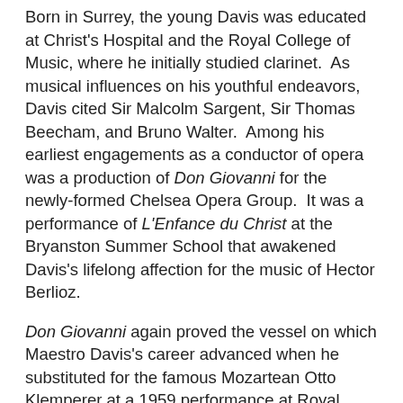Born in Surrey, the young Davis was educated at Christ's Hospital and the Royal College of Music, where he initially studied clarinet. As musical influences on his youthful endeavors, Davis cited Sir Malcolm Sargent, Sir Thomas Beecham, and Bruno Walter. Among his earliest engagements as a conductor of opera was a production of Don Giovanni for the newly-formed Chelsea Opera Group. It was a performance of L'Enfance du Christ at the Bryanston Summer School that awakened Davis's lifelong affection for the music of Hector Berlioz.
Don Giovanni again proved the vessel on which Maestro Davis's career advanced when he substituted for the famous Mozartean Otto Klemperer at a 1959 performance at Royal Festival Hall. This paved the way for an invitation from Sir Thomas Beecham to participate in a Glyndebourne production of Die Zauberflöte. The music of Mozart would continue to be central to Maestro Davis's career, in the world's opera houses, concert halls, and recording studios. Maestro Davis's recordings of Mozart's operas proved some of the most successful installments in the Philips Complete Mozart Edition, with some of the recordings offering